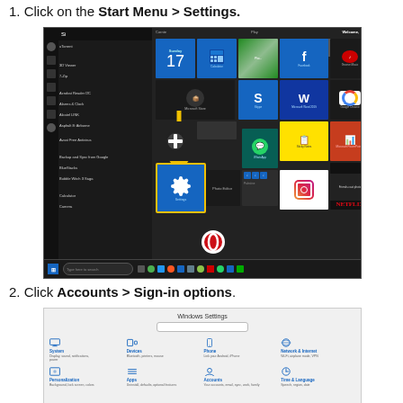1. Click on the Start Menu > Settings.
[Figure (screenshot): Windows 10 Start Menu open, showing app list on left with uTorrent, 3D Viewer, 7-Zip, Acrobat Reader DC, Alarms & Clock, Alcatel 1305, Asphalt 8 Airborne, Avast Free Antivirus, Backup and Sync from Google, BlueStacks, Bubble Witch 3 Saga, Calculator visible. Right side shows tiles including date (Sunday 17), Calculator, Cortana, Facebook, Groove Music, Neuropathy Trail, Microsoft Word 2019, Google Chrome, Sticky Notes, Microsoft PowerPoint, u-torrent, WhatsApp, Friends TV show tile, Netflix, Instagram. A yellow downward arrow points to the Settings tile which is highlighted with a yellow border. The Opera browser icon appears at the bottom. Taskbar at bottom shows search bar 'Type here to search'.]
2. Click Accounts > Sign-in options.
[Figure (screenshot): Windows Settings page showing: title 'Windows Settings', a search bar 'Find a setting', and a grid of settings categories: System (Display, sound, notifications, power), Devices (Bluetooth, printers, mouse), Phone (Link your Android, iPhone), Network & Internet (Wi-Fi, airplane mode, VPN), Personalization (Background, lock screen, colors), Apps (Uninstall, defaults, optional features), Accounts (Your accounts, email, sync, work, family), Time & Language (Speech, region, date). The bottom portion is dark/black showing additional settings icons partially visible.]